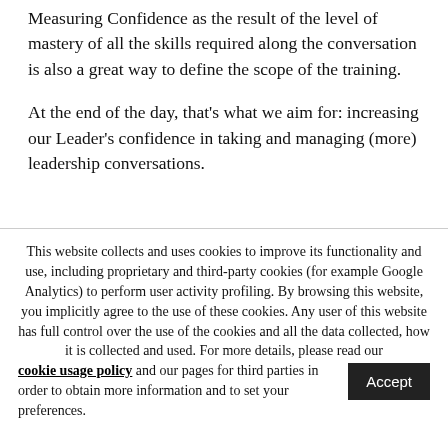Measuring Confidence as the result of the level of mastery of all the skills required along the conversation is also a great way to define the scope of the training.
At the end of the day, that's what we aim for: increasing our Leader's confidence in taking and managing (more) leadership conversations.
This website collects and uses cookies to improve its functionality and use, including proprietary and third-party cookies (for example Google Analytics) to perform user activity profiling. By browsing this website, you implicitly agree to the use of these cookies. Any user of this website has full control over the use of the cookies and all the data collected, how it is collected and used. For more details, please read our cookie usage policy and our pages for third parties in order to obtain more information and to set your preferences.